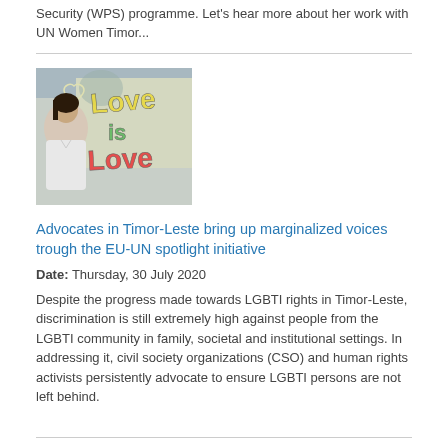Security (WPS) programme. Let's hear more about her work with UN Women Timor...
[Figure (photo): A woman standing in front of a colorful graffiti wall that reads 'Love is Love']
Advocates in Timor-Leste bring up marginalized voices trough the EU-UN spotlight initiative
Date: Thursday, 30 July 2020
Despite the progress made towards LGBTI rights in Timor-Leste, discrimination is still extremely high against people from the LGBTI community in family, societal and institutional settings. In addressing it, civil society organizations (CSO) and human rights activists persistently advocate to ensure LGBTI persons are not left behind.